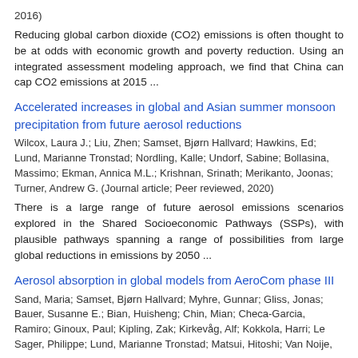2016)
Reducing global carbon dioxide (CO2) emissions is often thought to be at odds with economic growth and poverty reduction. Using an integrated assessment modeling approach, we find that China can cap CO2 emissions at 2015 ...
Accelerated increases in global and Asian summer monsoon precipitation from future aerosol reductions
Wilcox, Laura J.; Liu, Zhen; Samset, Bjørn Hallvard; Hawkins, Ed; Lund, Marianne Tronstad; Nordling, Kalle; Undorf, Sabine; Bollasina, Massimo; Ekman, Annica M.L.; Krishnan, Srinath; Merikanto, Joonas; Turner, Andrew G. (Journal article; Peer reviewed, 2020)
There is a large range of future aerosol emissions scenarios explored in the Shared Socioeconomic Pathways (SSPs), with plausible pathways spanning a range of possibilities from large global reductions in emissions by 2050 ...
Aerosol absorption in global models from AeroCom phase III
Sand, Maria; Samset, Bjørn Hallvard; Myhre, Gunnar; Gliss, Jonas; Bauer, Susanne E.; Bian, Huisheng; Chin, Mian; Checa-Garcia, Ramiro; Ginoux, Paul; Kipling, Zak; Kirkevåg, Alf; Kokkola, Harri; Le Sager, Philippe; Lund, Marianne Tronstad; Matsui, Hitoshi; Van Noije,